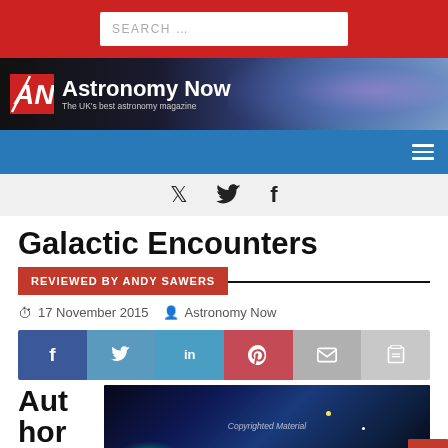SEARCH ...
[Figure (logo): Astronomy Now logo with 'AN' monogram and tagline 'The UK's best astronomy magazine' on a space nebula background]
Navigation bar with hamburger menu
Twitter and Facebook social icons
Galactic Encounters
REVIEWED BY ANDY SAWERS
17 November 2015   Astronomy Now
Social share buttons: Facebook, Twitter, LinkedIn, Pinterest, Email, Print
Aut hor S:
[Figure (photo): Dark space/galaxy image with 'Copyrighted Material' watermark, showing stars and nebula]